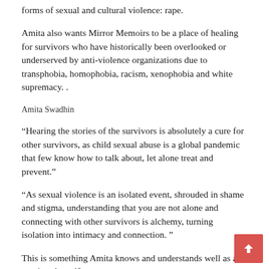forms of sexual and cultural violence: rape.
Amita also wants Mirror Memoirs to be a place of healing for survivors who have historically been overlooked or underserved by anti-violence organizations due to transphobia, homophobia, racism, xenophobia and white supremacy. .
Amita Swadhin
“Hearing the stories of the survivors is absolutely a cure for other survivors, as child sexual abuse is a global pandemic that few know how to talk about, let alone treat and prevent.”
“As sexual violence is an isolated event, shrouded in shame and stigma, understanding that you are not alone and connecting with other survivors is alchemy, turning isolation into intimacy and connection. ”
This is something Amita knows and understands well as a survivor herself.